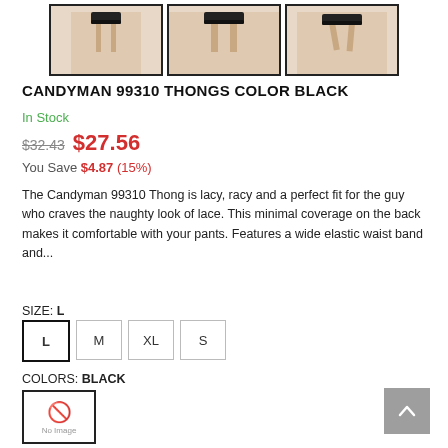[Figure (photo): Three product thumbnail images of Candyman 99310 Thongs in black]
CANDYMAN 99310 THONGS COLOR BLACK
In Stock
$32.43 $27.56
You Save $4.87 (15%)
The Candyman 99310 Thong is lacy, racy and a perfect fit for the guy who craves the naughty look of lace. This minimal coverage on the back makes it comfortable with your pants. Features a wide elastic waist band and...
SIZE: L
L  M  XL  S
COLORS: BLACK
[Figure (photo): Black color swatch thumbnail with No Image placeholder]